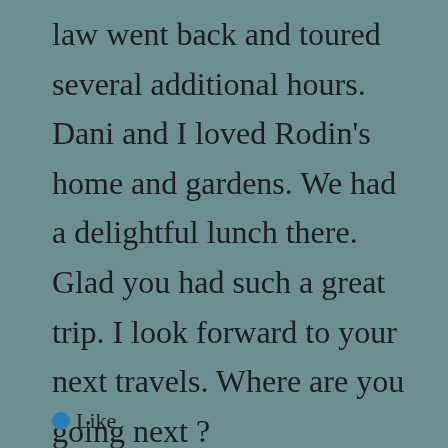law went back and toured several additional hours. Dani and I loved Rodin's home and gardens. We had a delightful lunch there. Glad you had such a great trip. I look forward to your next travels. Where are you going next ? a
Like